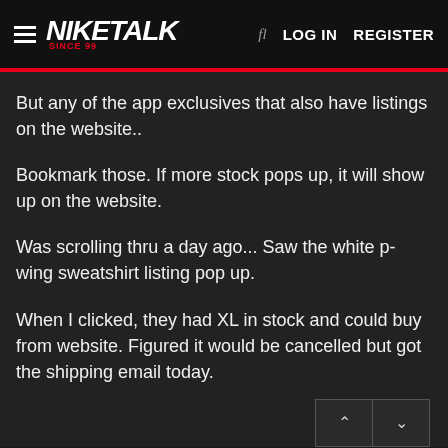NIKETALK SINCE 99 | LOG IN | REGISTER
But any of the app exclusives that also have listings on the website..
Bookmark those. If more stock pops up, it will show up on the website.
Was scrolling thru a day ago... Saw the white p-wing sweatshirt listing pop up.
When I clicked, they had XL in stock and could buy from website. Figured it would be cancelled but got the shipping email today.